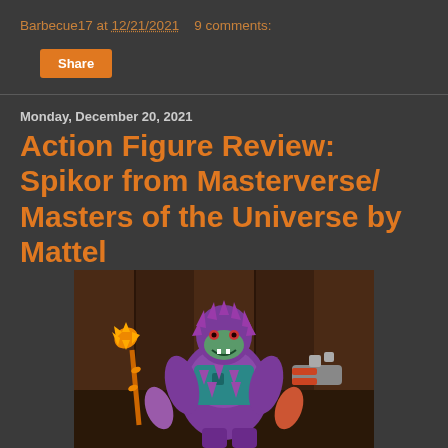Barbecue17 at 12/21/2021   9 comments:
Share
Monday, December 20, 2021
Action Figure Review: Spikor from Masterverse/ Masters of the Universe by Mattel
[Figure (photo): Photo of Spikor action figure from Masterverse/Masters of the Universe by Mattel, showing a purple spiky villain character holding an orange mace weapon in one hand and a red and grey weapon in the other hand, with purple spiky hair.]